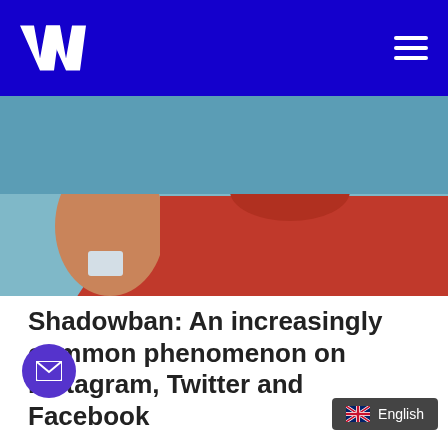W (logo) — navigation header with hamburger menu
[Figure (illustration): Illustration of a person in a red shirt holding a card, with a teal/blue background]
Shadowban: An increasingly common phenomenon on Instagram, Twitter and Facebook
By now, everyone has heard about the rumour of the mysterious shadowban of Instagram, Twitter or Facebook. Don't know what "shadowban" is? That thing where your engagement suddenly drops, you lose countless followers and your posts no longer show up in hashtag results? All without you getting a notification